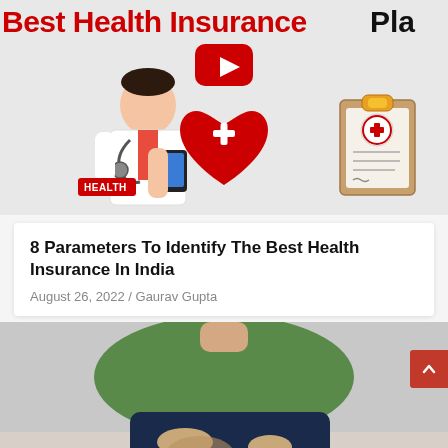[Figure (illustration): Banner image for a health insurance video/article. Shows partially visible title text 'How to find the Best Health Insurance Plan' in red and black, with a YouTube play button icon, a cartoon doctor with stethoscope, a red heart with white cross, and a medical clipboard illustration. A red 'HEALTH' badge is overlaid on the doctor figure.]
8 Parameters To Identify The Best Health Insurance In India
August 26, 2022 / Gaurav Gupta
[Figure (photo): Photo of a man in a green t-shirt and dark blue shorts sitting down, holding his knee. He is wearing a black knee brace/support on his lower leg. The background is light/white.]